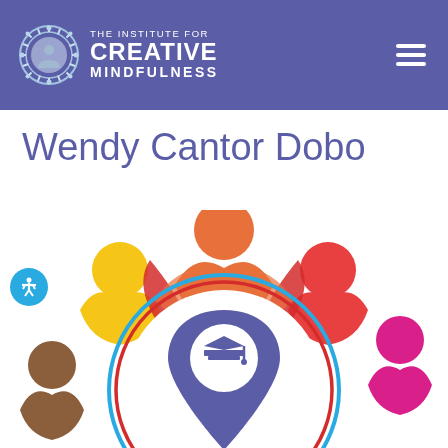The Institute for Creative Mindfulness
Wendy Cantor Dobo
[Figure (illustration): Colorful illustration of diverse human figures arranged in a circle around a central location pin icon with a graduation cap, representing education and community.]